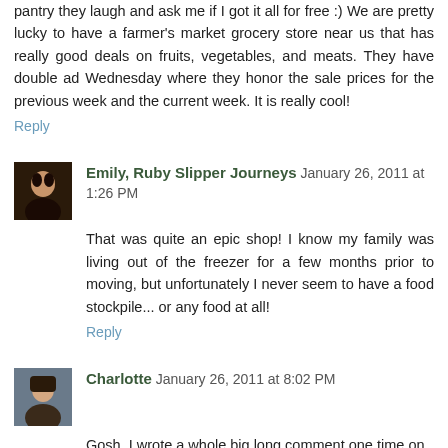pantry they laugh and ask me if I got it all for free :) We are pretty lucky to have a farmer's market grocery store near us that has really good deals on fruits, vegetables, and meats. They have double ad Wednesday where they honor the sale prices for the previous week and the current week. It is really cool!
Reply
Emily, Ruby Slipper Journeys January 26, 2011 at 1:26 PM
That was quite an epic shop! I know my family was living out of the freezer for a few months prior to moving, but unfortunately I never seem to have a food stockpile... or any food at all!
Reply
Charlotte January 26, 2011 at 8:02 PM
Gosh, I wrote a whole big long comment one time on